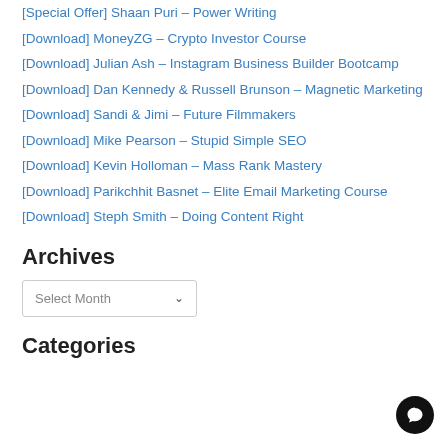[Special Offer] Shaan Puri – Power Writing
[Download] MoneyZG – Crypto Investor Course
[Download] Julian Ash – Instagram Business Builder Bootcamp
[Download] Dan Kennedy & Russell Brunson – Magnetic Marketing
[Download] Sandi & Jimi – Future Filmmakers
[Download] Mike Pearson – Stupid Simple SEO
[Download] Kevin Holloman – Mass Rank Mastery
[Download] Parikchhit Basnet – Elite Email Marketing Course
[Download] Steph Smith – Doing Content Right
Archives
Categories